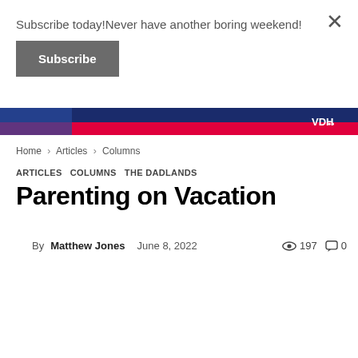Subscribe today!Never have another boring weekend!
Subscribe
[Figure (other): Colorful banner advertisement with a blue and red/pink strip, showing partial imagery of people and a logo 'VDH' on the right side]
Home › Articles › Columns
ARTICLES  COLUMNS  THE DADLANDS
Parenting on Vacation
By Matthew Jones   June 8, 2022   👁 197  💬 0